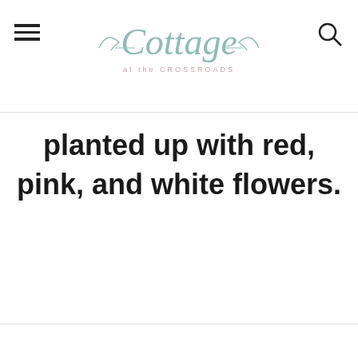Cottage at the Crossroads
planted up with red, pink, and white flowers.